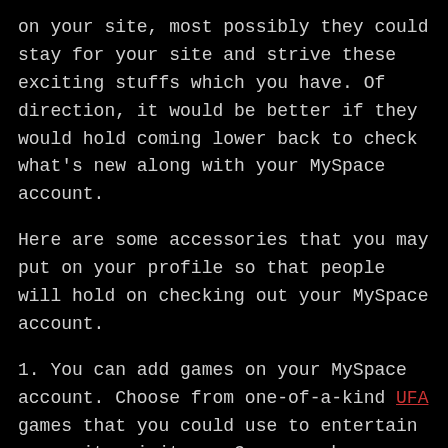on your site, most possibly they could stay for your site and strive these exciting stuffs which you have. Of direction, it would be better if they would hold coming lower back to check what's new along with your MySpace account.
Here are some accessories that you may put on your profile so that people will hold on checking out your MySpace account.
1. You can add games on your MySpace account. Choose from one-of-a-kind UFA games that you could use to entertain your site visitors. Games such as golfing, Mario brothers or Asteroids can be pasted for your profile. Those site visitors who're online game addicts will sincerely be pouring on your profile.